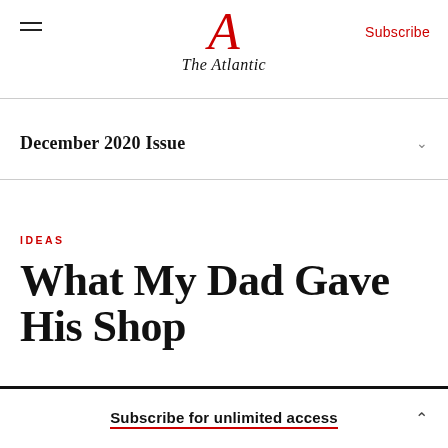The Atlantic
December 2020 Issue
IDEAS
What My Dad Gave His Shop
Subscribe for unlimited access